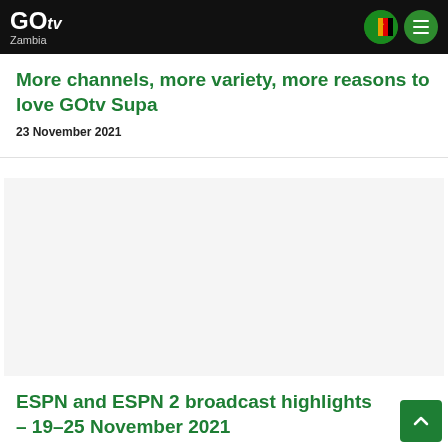GOtv Zambia
More channels, more variety, more reasons to love GOtv Supa
23 November 2021
[Figure (photo): Large image area for article, appears blank/white in this screenshot]
ESPN and ESPN 2 broadcast highlights – 19–25 November 2021